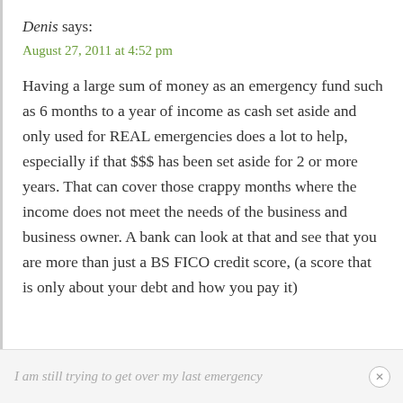Denis says:
August 27, 2011 at 4:52 pm
Having a large sum of money as an emergency fund such as 6 months to a year of income as cash set aside and only used for REAL emergencies does a lot to help, especially if that $$$ has been set aside for 2 or more years. That can cover those crappy months where the income does not meet the needs of the business and business owner. A bank can look at that and see that you are more than just a BS FICO credit score, (a score that is only about your debt and how you pay it)
I am still trying to get over my last emergency